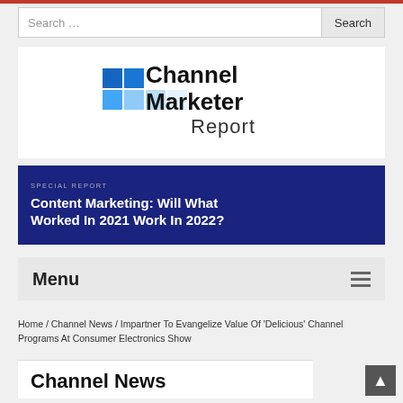[Figure (logo): Channel Marketer Report logo with blue grid squares and bold text]
[Figure (infographic): Dark blue banner reading SPECIAL REPORT: Content Marketing: Will What Worked In 2021 Work In 2022?]
Menu
Home / Channel News / Impartner To Evangelize Value Of ‘Delicious’ Channel Programs At Consumer Electronics Show
Channel News